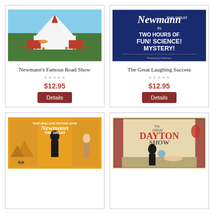[Figure (illustration): Vintage poster showing Newmann's Famous Road Show - aerial view of circus tent with crowds]
Newmann's Famous Road Show
$12.95
Details
[Figure (illustration): Vintage poster - Newmann The Great in Two Hours of Fun! Science! Mystery! on dark blue background]
The Great Laughing Success
$12.95
Details
[Figure (illustration): Vintage poster - That Brilliant Psychic Star Newmann The Great, magician in tuxedo on orange background with pyramids]
[Figure (illustration): Vintage poster - The Great Dayton Show, magician with globe on stage]